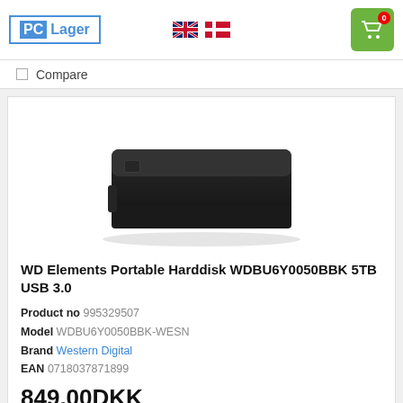PC Lager
Compare
[Figure (photo): WD Elements Portable Harddisk product photo — black rectangular external hard drive on white background]
WD Elements Portable Harddisk WDBU6Y0050BBK 5TB USB 3.0
Product no 995329507
Model WDBU6Y0050BBK-WESN
Brand Western Digital
EAN 0718037871899
849,00DKK
679,20DKK excl. VAT